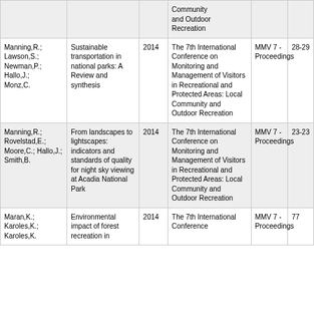| Author | Title | Year | Conference | Publication | Pages |
| --- | --- | --- | --- | --- | --- |
|  |  |  | Community and Outdoor Recreation |  |  |
| Manning,R.; Lawson,S.; Newman,P.; Hallo,J.; Monz,C. | Sustainable transportation in national parks: A Review and synthesis | 2014 | The 7th International Conference on Monitoring and Management of Visitors in Recreational and Protected Areas: Local Community and Outdoor Recreation | MMV 7 - Proceedings | 28-29 |
| Manning,R.; Rovelstad,E.; Moore,C.; Hallo,J.; Smith,B. | From landscapes to lightscapes: indicators and standards of quality for night sky viewing at Acadia National Park | 2014 | The 7th International Conference on Monitoring and Management of Visitors in Recreational and Protected Areas: Local Community and Outdoor Recreation | MMV 7 - Proceedings | 23-23 |
| Maran,K.; Karoles,K.; Karoles,K. | Environmental impact of forest recreation in | 2014 | The 7th International Conference | MMV 7 - Proceedings | 77 |